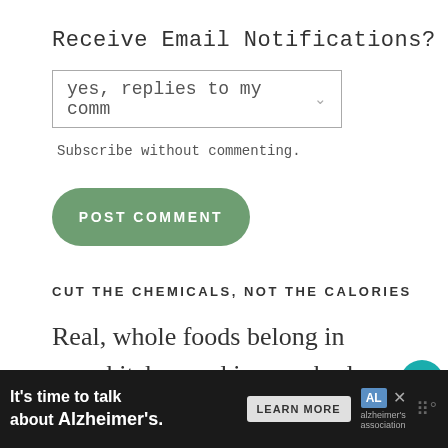Receive Email Notifications?
yes, replies to my comm
Subscribe without commenting.
POST COMMENT
CUT THE CHEMICALS, NOT THE CALORIES
Real, whole foods belong in your kitchen and in your body. Welcome to my farmhouse kitchen where I teach you
[Figure (screenshot): Advertisement bar: It's time to talk about Alzheimer's. LEARN MORE button. Alzheimer's Association logo. Close button.]